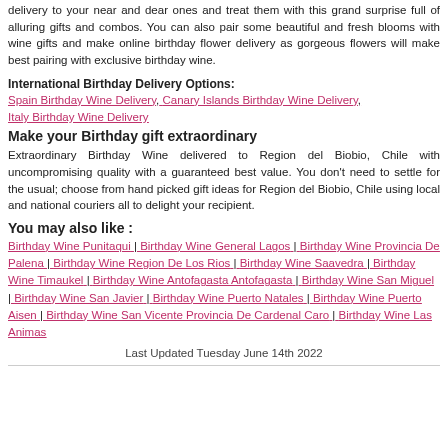delivery to your near and dear ones and treat them with this grand surprise full of alluring gifts and combos. You can also pair some beautiful and fresh blooms with wine gifts and make online birthday flower delivery as gorgeous flowers will make best pairing with exclusive birthday wine.
International Birthday Delivery Options:
Spain Birthday Wine Delivery, Canary Islands Birthday Wine Delivery, Italy Birthday Wine Delivery
Make your Birthday gift extraordinary
Extraordinary Birthday Wine delivered to Region del Biobio, Chile with uncompromising quality with a guaranteed best value. You don't need to settle for the usual; choose from hand picked gift ideas for Region del Biobio, Chile using local and national couriers all to delight your recipient.
You may also like :
Birthday Wine Punitaqui | Birthday Wine General Lagos | Birthday Wine Provincia De Palena | Birthday Wine Region De Los Rios | Birthday Wine Saavedra | Birthday Wine Timaukel | Birthday Wine Antofagasta Antofagasta | Birthday Wine San Miguel | Birthday Wine San Javier | Birthday Wine Puerto Natales | Birthday Wine Puerto Aisen | Birthday Wine San Vicente Provincia De Cardenal Caro | Birthday Wine Las Animas
Last Updated Tuesday June 14th 2022